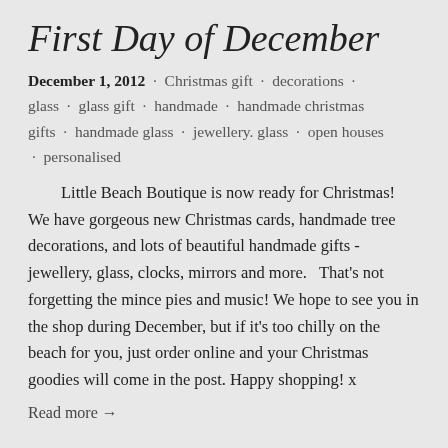First Day of December
December 1, 2012 · Christmas gift · decorations · glass · glass gift · handmade · handmade christmas gifts · handmade glass · jewellery. glass · open houses · personalised
Little Beach Boutique is now ready for Christmas! We have gorgeous new Christmas cards, handmade tree decorations, and lots of beautiful handmade gifts - jewellery, glass, clocks, mirrors and more.   That's not forgetting the mince pies and music! We hope to see you in the shop during December, but if it's too chilly on the beach for you, just order online and your Christmas goodies will come in the post. Happy shopping! x
Read more →